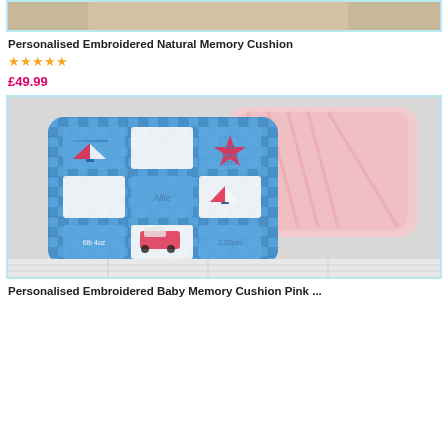[Figure (photo): Personalised Embroidered Natural Memory Cushion product photo (top portion visible)]
Personalised Embroidered Natural Memory Cushion
★★★★★
£49.99
[Figure (photo): Personalised Embroidered Baby Memory Cushion - blue gingham patchwork cushion with sailboats, train, star embroidery and text 'Alfie', '25th March 2012', '2.53pm']
Personalised Embroidered Baby Memory Cushion Pink ...